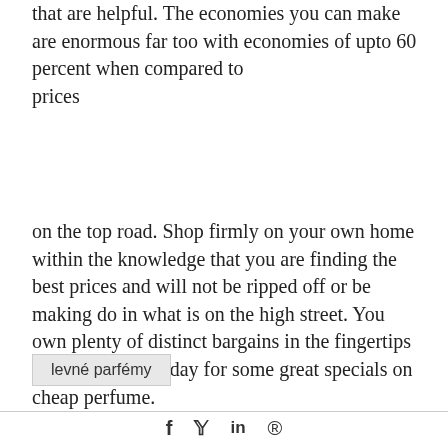that are helpful. The economies you can make are enormous far too with economies of upto 60 percent when compared to prices
on the top road. Shop firmly on your own home within the knowledge that you are finding the best prices and will not be ripped off or be making do in what is on the high street. You own plenty of distinct bargains in the fingertips get on the web today for some great specials on cheap perfume.
levné parfémy
f  y  in  ®